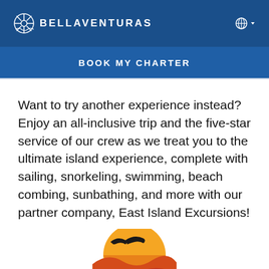BELLAVENTURAS
BOOK MY CHARTER
Want to try another experience instead? Enjoy an all-inclusive trip and the five-star service of our crew as we treat you to the ultimate island experience, complete with sailing, snorkeling, swimming, beach combing, sunbathing, and more with our partner company, East Island Excursions!
[Figure (logo): East Island Excursions logo featuring a sunset/sun graphic with a bird silhouette and stylized text]